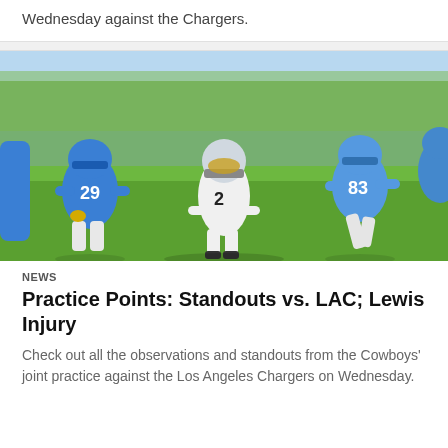Wednesday against the Chargers.
[Figure (photo): Football players in practice: a Cowboys player in white jersey number 2 lined up in defensive stance between two Chargers players in blue jerseys on a grass field]
NEWS
Practice Points: Standouts vs. LAC; Lewis Injury
Check out all the observations and standouts from the Cowboys' joint practice against the Los Angeles Chargers on Wednesday.